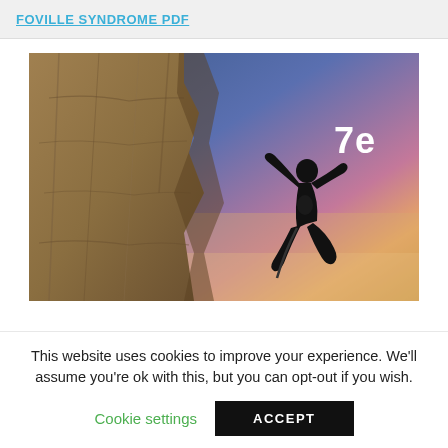FOVILLE SYNDROME PDF
[Figure (photo): A rock climber silhouetted against a twilight sky scaling a cliff face, with the text '7e' in white in the upper right area of the image.]
This website uses cookies to improve your experience. We'll assume you're ok with this, but you can opt-out if you wish.
Cookie settings
ACCEPT